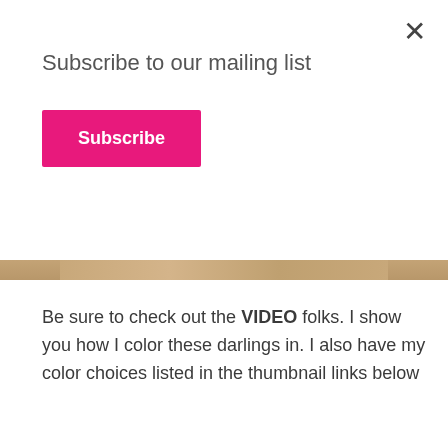Subscribe to our mailing list
Subscribe
[Figure (photo): A partial image strip showing a tan/brown colored background, likely the bottom edge of a crafting or coloring image]
Be sure to check out the VIDEO folks. I show you how I color these darlings in. I also have my color choices listed in the thumbnail links below as well as in the description over on my channel.
Before I started coloring, I knew what color I was going to use for my background. I wanted Tim Holtz Distress Ink in BROKEN CHINA. It's one of my faves for sky backgrounds. It's not too light and it's not too light. It's perfect. So I chose my Copic Colors around that. The